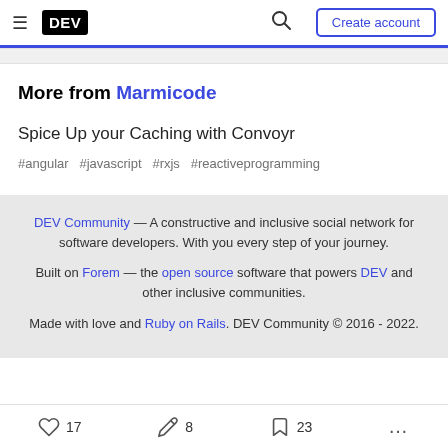DEV logo, hamburger menu, search icon, Create account button
More from Marmicode
Spice Up your Caching with Convoyr
#angular  #javascript  #rxjs  #reactiveprogramming
DEV Community — A constructive and inclusive social network for software developers. With you every step of your journey.

Built on Forem — the open source software that powers DEV and other inclusive communities.
Made with love and Ruby on Rails. DEV Community © 2016 - 2022.
17  8  23  ...